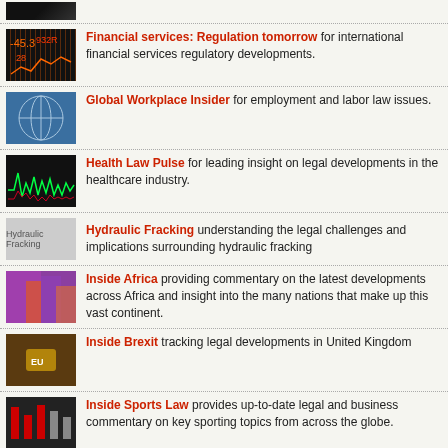Financial services: Regulation tomorrow for international financial services regulatory developments.
Global Workplace Insider for employment and labor law issues.
Health Law Pulse for leading insight on legal developments in the healthcare industry.
Hydraulic Fracking understanding the legal challenges and implications surrounding hydraulic fracking
Inside Africa providing commentary on the latest developments across Africa and insight into the many nations that make up this vast continent.
Inside Brexit tracking legal developments in United Kingdom
Inside Sports Law provides up-to-date legal and business commentary on key sporting topics from across the globe.
Les Actifs créatifs for the latest developments in intellectual property (blog in French).
Patent Challenges for analysis of USPTO post-issuance proceedings
Pharma in Brief legal and regulatory developments affecting the pharmaceutical industry.
Project Finance News for developments affecting project finance